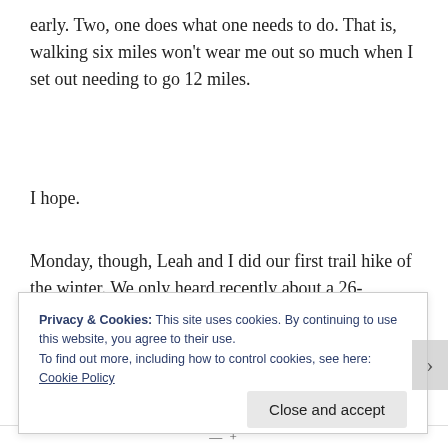early. Two, one does what one needs to do. That is, walking six miles won't wear me out so much when I set out needing to go 12 miles.
I hope.
Monday, though, Leah and I did our first trail hike of the winter. We only heard recently about a 26-
Privacy & Cookies: This site uses cookies. By continuing to use this website, you agree to their use.
To find out more, including how to control cookies, see here: Cookie Policy
Close and accept